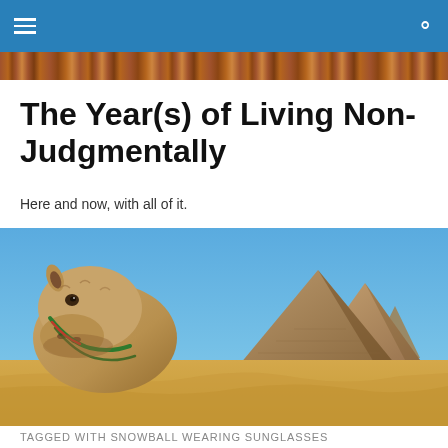≡  🔍
The Year(s) of Living Non-Judgmentally
Here and now, with all of it.
[Figure (photo): A camel in the foreground on sandy desert ground with the Egyptian pyramids of Giza in the background under a clear blue sky.]
TAGGED WITH SNOWBALL WEARING SUNGLASSES